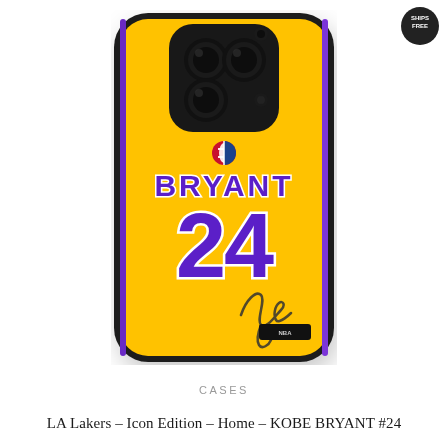[Figure (photo): Product photo of a yellow iPhone case featuring the LA Lakers Kobe Bryant #24 jersey design with purple lettering 'BRYANT' and number '24', NBA logo, signature, and NBA tag. Small black circular badge in top-right corner reading 'SHIPS FREE'.]
CASES
LA Lakers – Icon Edition – Home – KOBE BRYANT #24